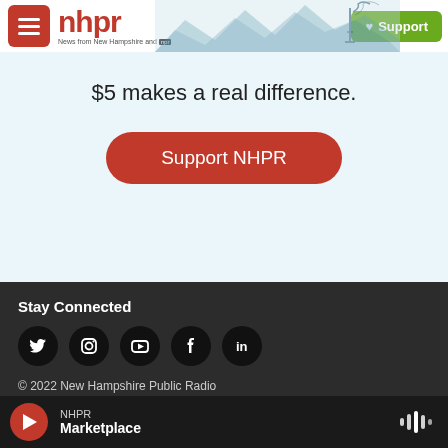nhpr — News from New Hampshire and NPR | Support
$5 makes a real difference.
Support NHPR
Stay Connected
[Figure (infographic): Social media icons: Twitter, Instagram, YouTube, Facebook, LinkedIn — white icons on black circles]
© 2022 New Hampshire Public Radio
Persons with disabilities who need assistance accessing NHPR's FCC
NHPR — Marketplace (audio player bar)